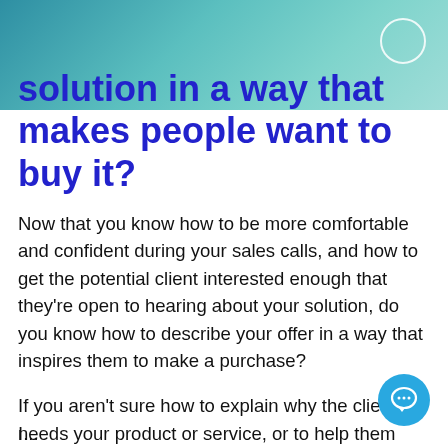solution in a way that makes people want to buy it?
Now that you know how to be more comfortable and confident during your sales calls, and how to get the potential client interested enough that they're open to hearing about your solution, do you know how to describe your offer in a way that inspires them to make a purchase?
If you aren't sure how to explain why the client needs your product or service, or to help them understand why your offer is worth the price you're asking, I've got a quick, easy solution for you.
I...